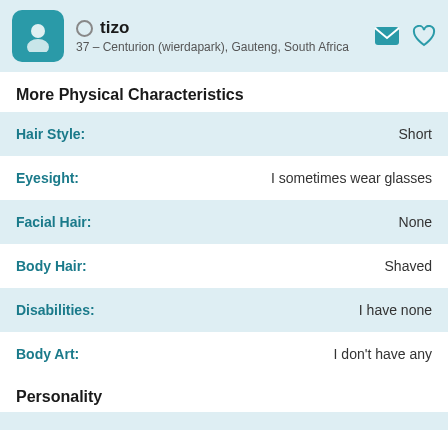tizo — 37 – Centurion (wierdapark), Gauteng, South Africa
More Physical Characteristics
| Attribute | Value |
| --- | --- |
| Hair Style: | Short |
| Eyesight: | I sometimes wear glasses |
| Facial Hair: | None |
| Body Hair: | Shaved |
| Disabilities: | I have none |
| Body Art: | I don't have any |
Personality